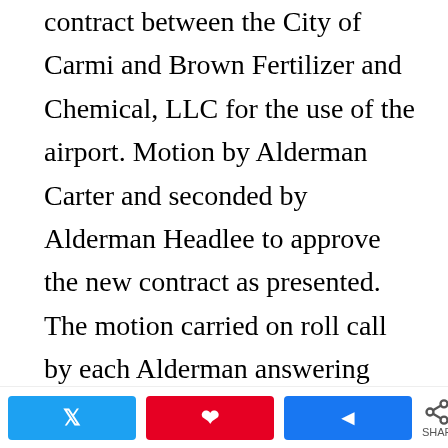contract between the City of Carmi and Brown Fertilizer and Chemical, LLC for the use of the airport. Motion by Alderman Carter and seconded by Alderman Headlee to approve the new contract as presented. The motion carried on roll call by each Alderman answering “yes.”
Mayor Pollard presented for review and approval the contractor bids for the roof replacement of the Carmi Light & Water building. Mayor Pollard gave an explanation of